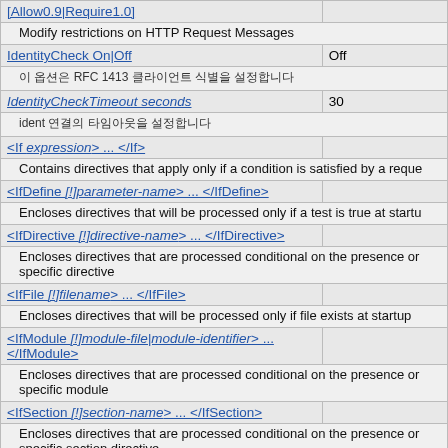| Directive | Default |
| --- | --- |
| [Allow0.9|Require1.0] | Modify restrictions on HTTP Request Messages |
| IdentityCheck On|Off | Off | 이 옵션은 RFC 1413 클라이언트 식별을 설정합니다 |
| IdentityCheckTimeout seconds | 30 | ident 연결의 타임아웃을 설정합니다 |
| <If expression> ... </If> |  | Contains directives that apply only if a condition is satisfied by a reque |
| <IfDefine [!]parameter-name> ... </IfDefine> |  | Encloses directives that will be processed only if a test is true at startu |
| <IfDirective [!]directive-name> ... </IfDirective> |  | Encloses directives that are processed conditional on the presence or specific directive |
| <IfFile [!]filename> ... </IfFile> |  | Encloses directives that will be processed only if file exists at startup |
| <IfModule [!]module-file|module-identifier> ... </IfModule> |  | Encloses directives that are processed conditional on the presence or specific module |
| <IfSection [!]section-name> ... </IfSection> |  | Encloses directives that are processed conditional on the presence or specific section directive |
| <IfVersion [[!]operator] version> ... |  |